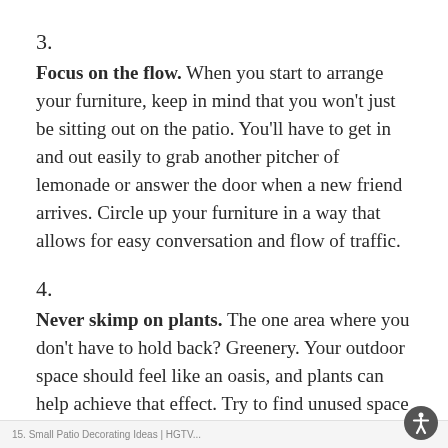3.
Focus on the flow. When you start to arrange your furniture, keep in mind that you won't just be sitting out on the patio. You'll have to get in and out easily to grab another pitcher of lemonade or answer the door when a new friend arrives. Circle up your furniture in a way that allows for easy conversation and flow of traffic.
4.
Never skimp on plants. The one area where you don't have to hold back? Greenery. Your outdoor space should feel like an oasis, and plants can help achieve that effect. Try to find unused space for planters, like a corner tucked away behind a chair, or add flower boxes to your railing for some extra life and color.
...